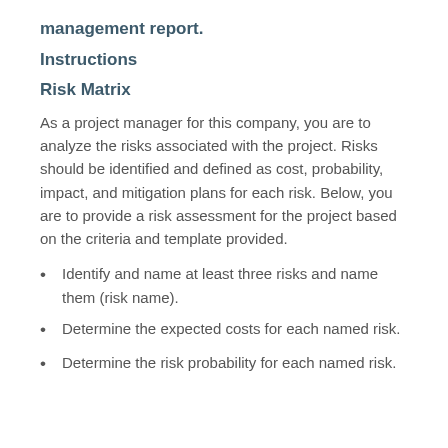management report.
Instructions
Risk Matrix
As a project manager for this company, you are to analyze the risks associated with the project. Risks should be identified and defined as cost, probability, impact, and mitigation plans for each risk. Below, you are to provide a risk assessment for the project based on the criteria and template provided.
Identify and name at least three risks and name them (risk name).
Determine the expected costs for each named risk.
Determine the risk probability for each named risk.